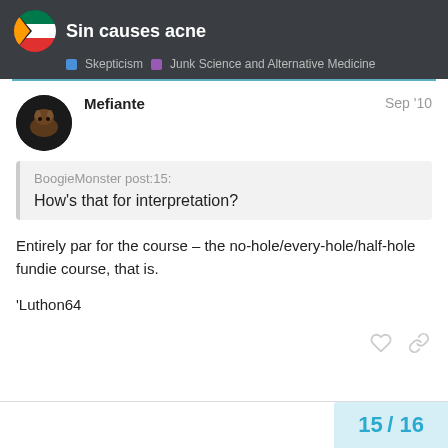Sin causes acne — Skepticism | Junk Science and Alternative Medicine
Mefiante
Sep '10
BoogieMonster post:15:
How's that for interpretation?
Entirely par for the course – the no-hole/every-hole/half-hole fundie course, that is.

'Luthon64
15 / 16